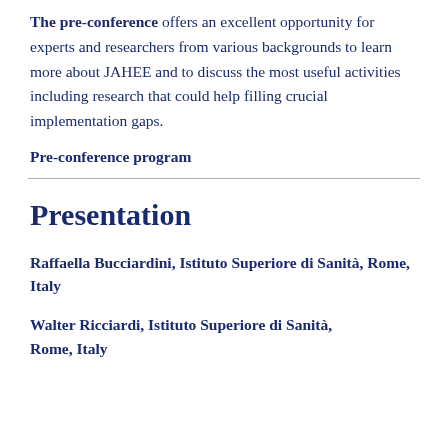The pre-conference offers an excellent opportunity for experts and researchers from various backgrounds to learn more about JAHEE and to discuss the most useful activities including research that could help filling crucial implementation gaps.
Pre-conference program
Presentation
Raffaella Bucciardini, Istituto Superiore di Sanità, Rome, Italy
Walter Ricciardi, Istituto Superiore di Sanità, Rome, Italy